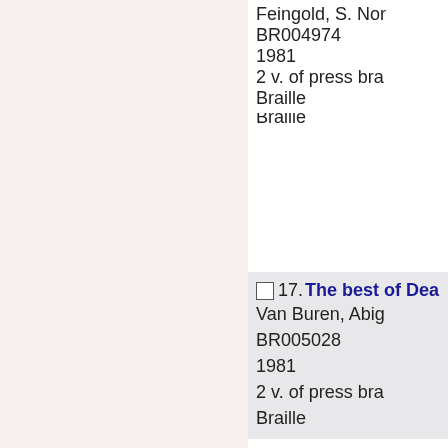Feingold, S. Nor
BR004974
1981
2 v. of press bra
Braille
17. The best of Dea
Van Buren, Abig
BR005028
1981
2 v. of press bra
Braille
18. Custom hints f
you go.
United States. B
BR002222
1973
1 vol. of press b
Braille
19. Our bodies, ou